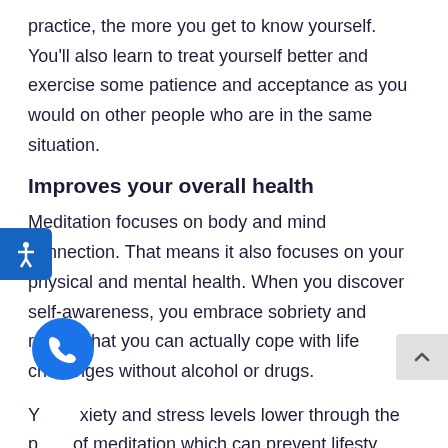practice, the more you get to know yourself. You'll also learn to treat yourself better and exercise some patience and acceptance as you would on other people who are in the same situation.
Improves your overall health
Meditation focuses on body and mind connection. That means it also focuses on your physical and mental health. When you discover self-awareness, you embrace sobriety and realize that you can actually cope with life challenges without alcohol or drugs.
Your anxiety and stress levels lower through the practice of meditation which can prevent lifestyle related illnesses such as high blood pressure, stroke,